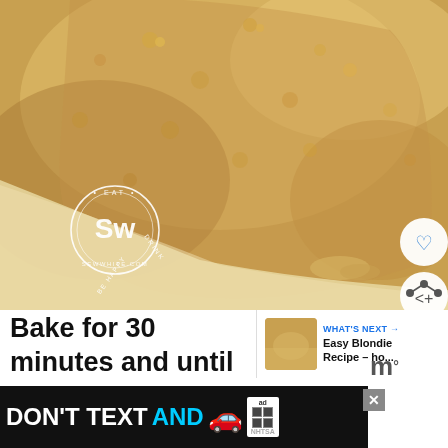[Figure (photo): Close-up photo of a golden-brown baked pastry or biscuit with a dimpled surface texture, with the Sew White (sewwhite.com) circular logo watermark in the bottom left, and social media heart and share buttons on the right side.]
Bake for 30 minutes and until the top feels set to the touch and is light
[Figure (other): WHAT'S NEXT banner with thumbnail image and text: Easy Blondie Recipe - ho...]
[Figure (other): Advertisement banner: DON'T TEXT AND [car emoji] ad NHTSA]
m°